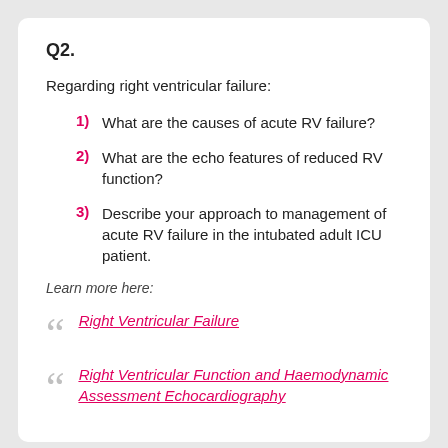Q2.
Regarding right ventricular failure:
1) What are the causes of acute RV failure?
2) What are the echo features of reduced RV function?
3) Describe your approach to management of acute RV failure in the intubated adult ICU patient.
Learn more here:
Right Ventricular Failure
Right Ventricular Function and Haemodynamic Assessment Echocardiography